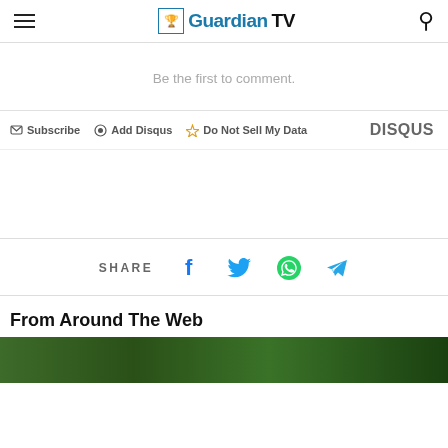GuardianTV
Be the first to comment.
Subscribe  Add Disqus  Do Not Sell My Data  DISQUS
SHARE
From Around The Web
[Figure (photo): Green jungle/forest image strip at the bottom]